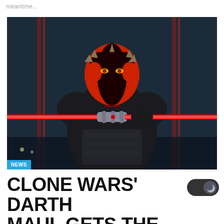meantime...
[Figure (photo): Darth Maul figure from Clone Wars holding a double-bladed red lightsaber, with red and black face paint and horns, wearing black armor against a dark blue background with red vertical light pillars. A blue NEWS badge appears in the bottom-left corner of the image.]
CLONE WARS' DARTH MAUL GETS THE HOT